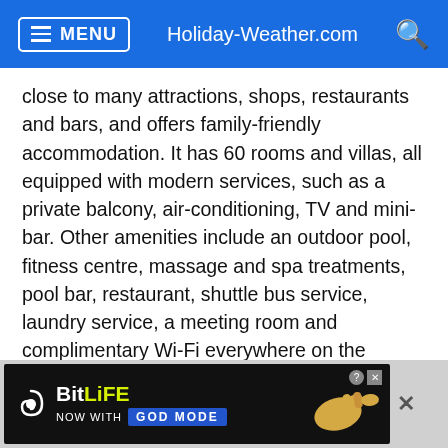MENU | Holiday-Weather.com
close to many attractions, shops, restaurants and bars, and offers family-friendly accommodation. It has 60 rooms and villas, all equipped with modern services, such as a private balcony, air-conditioning, TV and mini-bar. Other amenities include an outdoor pool, fitness centre, massage and spa treatments, pool bar, restaurant, shuttle bus service, laundry service, a meeting room and complimentary Wi-Fi everywhere on the property. You can also go kayaking, snorkelling and play beach volleyball. Additionally, you may want to take a Thai cooking or fruit carving class. Every Monday night there is a movie on the big screen by the swimming pool.
[Figure (screenshot): BitLife advertisement banner - NOW WITH GOD MODE]